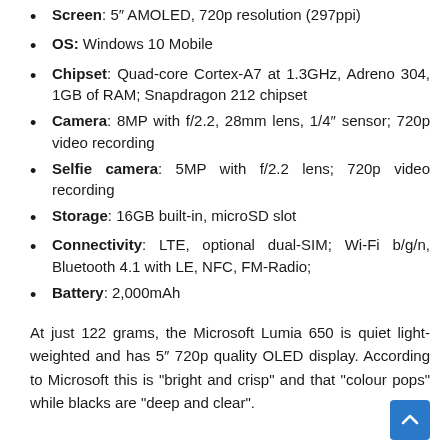Screen: 5" AMOLED, 720p resolution (297ppi)
OS: Windows 10 Mobile
Chipset: Quad-core Cortex-A7 at 1.3GHz, Adreno 304, 1GB of RAM; Snapdragon 212 chipset
Camera: 8MP with f/2.2, 28mm lens, 1/4" sensor; 720p video recording
Selfie camera: 5MP with f/2.2 lens; 720p video recording
Storage: 16GB built-in, microSD slot
Connectivity: LTE, optional dual-SIM; Wi-Fi b/g/n, Bluetooth 4.1 with LE, NFC, FM-Radio;
Battery: 2,000mAh
At just 122 grams, the Microsoft Lumia 650 is quiet light-weighted and has 5" 720p quality OLED display. According to Microsoft this is “bright and crisp” and that “colour pops” while blacks are “deep and clear”.